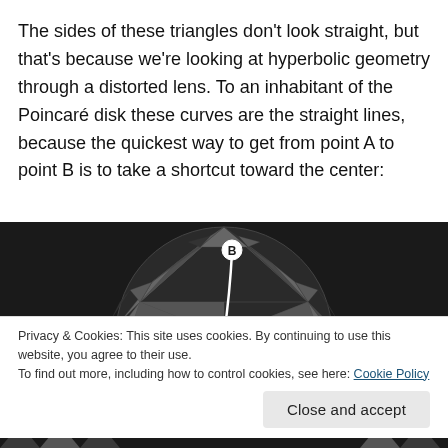The sides of these triangles don't look straight, but that's because we're looking at hyperbolic geometry through a distorted lens. To an inhabitant of the Poincaré disk these curves are the straight lines, because the quickest way to get from point A to point B is to take a shortcut toward the center:
[Figure (illustration): A Poincaré disk model showing hyperbolic geometry with triangular tessellations in dark gray/black. A white curved line runs from a labeled point B near the top of the disk down toward the center of the disk, illustrating a geodesic path. The disk is filled with increasingly small triangular tiles toward the boundary.]
Privacy & Cookies: This site uses cookies. By continuing to use this website, you agree to their use.
To find out more, including how to control cookies, see here: Cookie Policy